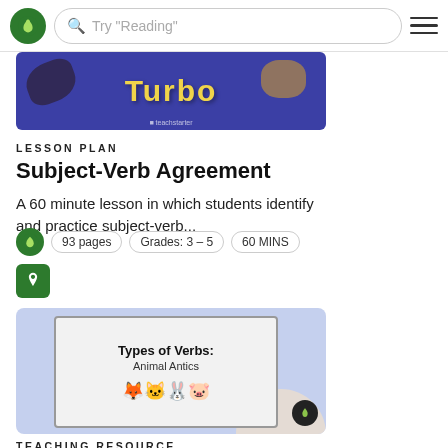Try "Reading"
[Figure (screenshot): Partial banner image with blue background and yellow text showing 'Turbo' with illustrated animals, Teachstarter branding]
LESSON PLAN
Subject-Verb Agreement
A 60 minute lesson in which students identify and practice subject-verb...
93 pages   Grades: 3 – 5   60 MINS
[Figure (screenshot): Slide thumbnail showing 'Types of Verbs: Animal Antics' with animal emoji faces on light purple background]
TEACHING RESOURCE